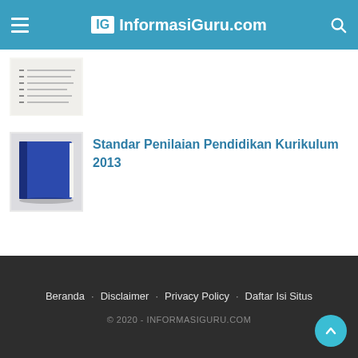IG InformasiGuru.com
[Figure (screenshot): Thumbnail image of a checklist document with handwritten-style lines]
[Figure (illustration): Blue hardcover book thumbnail image]
Standar Penilaian Pendidikan Kurikulum 2013
Beranda · Disclaimer · Privacy Policy · Daftar Isi Situs
© 2020 - INFORMASIGURU.COM